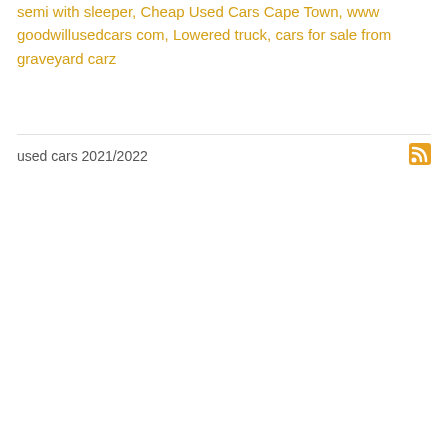semi with sleeper, Cheap Used Cars Cape Town, www goodwillusedcars com, Lowered truck, cars for sale from graveyard carz
used cars 2021/2022